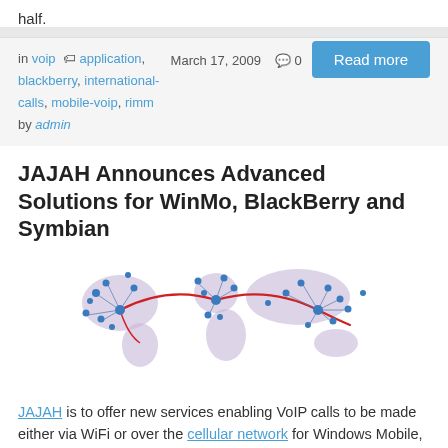half.
Read more
in voip  application, blackberry, international-calls, mobile-voip, rimm  0  March 17, 2009  by admin
JAJAH Announces Advanced Solutions for WinMo, BlackBerry and Symbian
[Figure (map): World network map showing blue node dots connected by red and blue lines across continents, representing JAJAH VoIP network connections globally.]
JAJAH is to offer new services enabling VoIP calls to be made either via WiFi or over the cellular network for Windows Mobile, BlackBerry and Symbian users. They are being offered as white label solution to